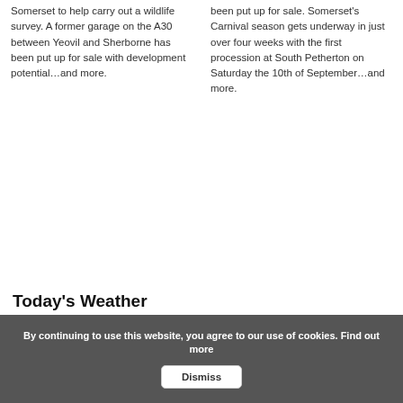Somerset to help carry out a wildlife survey. A former garage on the A30 between Yeovil and Sherborne has been put up for sale with development potential...and more.
been put up for sale. Somerset's Carnival season gets underway in just over four weeks with the first procession at South Petherton on Saturday the 10th of September...and more.
Today's Weather
By continuing to use this website, you agree to our use of cookies. Find out more